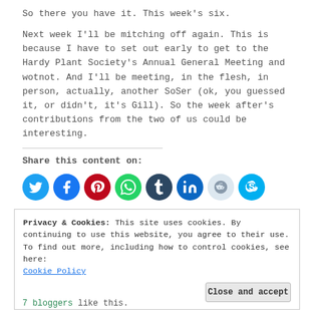So there you have it. This week's six.
Next week I'll be mitching off again. This is because I have to set out early to get to the Hardy Plant Society's Annual General Meeting and wotnot. And I'll be meeting, in the flesh, in person, actually, another SoSer (ok, you guessed it, or didn't, it's Gill). So the week after's contributions from the two of us could be interesting.
Share this content on:
[Figure (infographic): Row of social media share icons: Twitter (blue), Facebook (blue), Pinterest (red), WhatsApp (green), Tumblr (dark blue), LinkedIn (blue), Reddit (light blue), Skype (blue)]
Privacy & Cookies: This site uses cookies. By continuing to use this website, you agree to their use.
To find out more, including how to control cookies, see here:
Cookie Policy
7 bloggers like this.